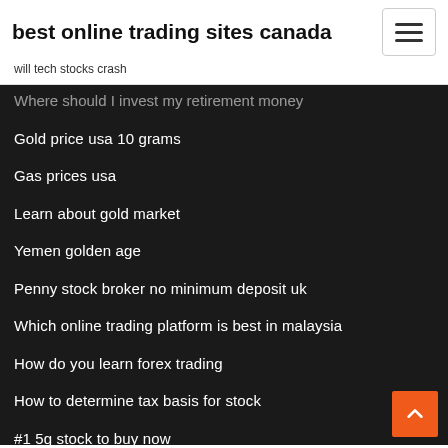best online trading sites canada
will tech stocks crash
Where should I invest my retirement money
Gold price usa 10 grams
Gas prices usa
Learn about gold market
Yemen golden age
Penny stock broker no minimum deposit uk
Which online trading platform is best in malaysia
How do you learn forex trading
How to determine tax basis for stock
#1 5g stock to buy now
Forex trading hours new york